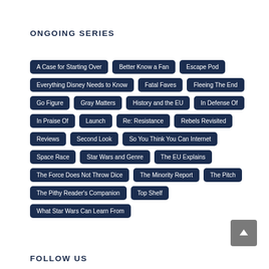ONGOING SERIES
A Case for Starting Over
Better Know a Fan
Escape Pod
Everything Disney Needs to Know
Fatal Faves
Fleeing The End
Go Figure
Gray Matters
History and the EU
In Defense Of
In Praise Of
Launch
Re: Resistance
Rebels Revisited
Reviews
Second Look
So You Think You Can Internet
Space Race
Star Wars and Genre
The EU Explains
The Force Does Not Throw Dice
The Minority Report
The Pitch
The Pithy Reader's Companion
Top Shelf
What Star Wars Can Learn From
FOLLOW US